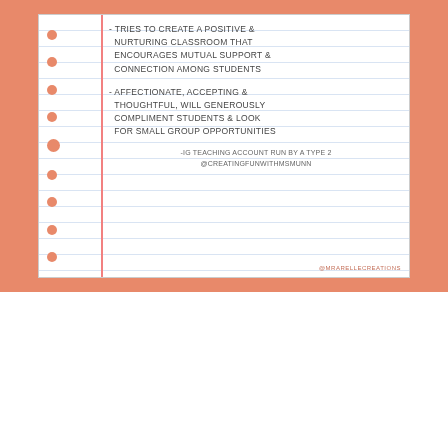[Figure (illustration): A notebook-style infographic on an orange/salmon background listing teaching traits. Text reads: '- TRIES TO CREATE A POSITIVE & NURTURING CLASSROOM THAT ENCOURAGES MUTUAL SUPPORT & CONNECTION AMONG STUDENTS' and '- AFFECTIONATE, ACCEPTING & THOUGHTFUL, WILL GENEROUSLY COMPLIMENT STUDENTS & LOOK FOR SMALL GROUP OPPORTUNITIES'. Footer: '-IG TEACHING ACCOUNT RUN BY A TYPE 2 @CREATINGFUNWITHMSMUNN'. Watermark: '@MRARELLECREATIONS'.]
APRIL 1, 2021   ABIGAIL LUND
The Enneagram Meets the ELA Classroom
Ever heard of the Enneagram? How could